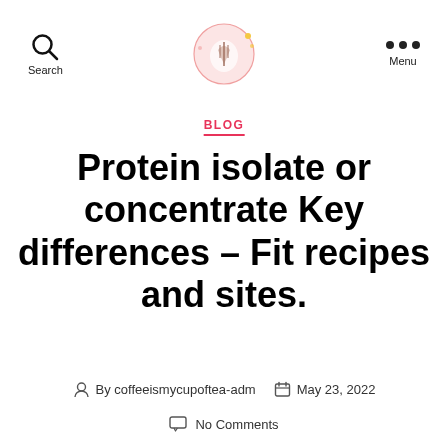Search | [Logo] | Menu
BLOG
Protein isolate or concentrate Key differences – Fit recipes and sites.
By coffeeismycupoftea-adm   May 23, 2022
No Comments